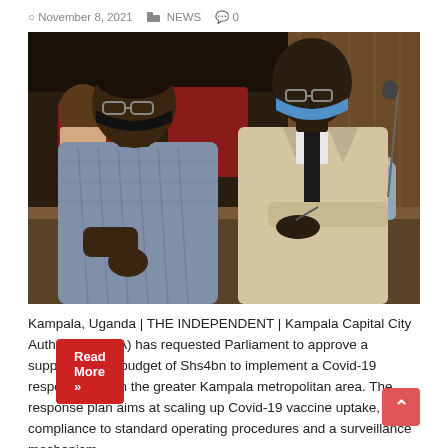November 8, 2021  NEWS  0
[Figure (photo): Two men in masks sitting at a conference table. One in a patterned shirt with a black mask, another in a beige suit with a blue mask. Water bottles and papers on the table.]
Kampala, Uganda | THE INDEPENDENT | Kampala Capital City Authority (KCCA) has requested Parliament to approve a supplementary budget of Shs4bn to implement a Covid-19 response plan in the greater Kampala metropolitan area. The response plan aims at scaling up Covid-19 vaccine uptake, compliance to standard operating procedures and a surveillance mechanism …
Read More »